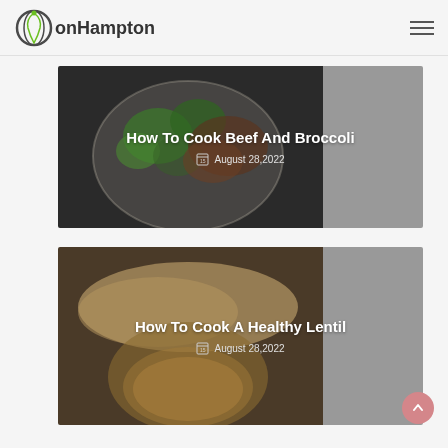onHampton
[Figure (photo): Article card showing a plate of beef and broccoli on a dark background with title 'How To Cook Beef And Broccoli' and date 'August 28, 2022']
[Figure (photo): Article card showing a lentil dish with flatbread on a dark background with title 'How To Cook A Healthy Lentil' and date 'August 28, 2022']